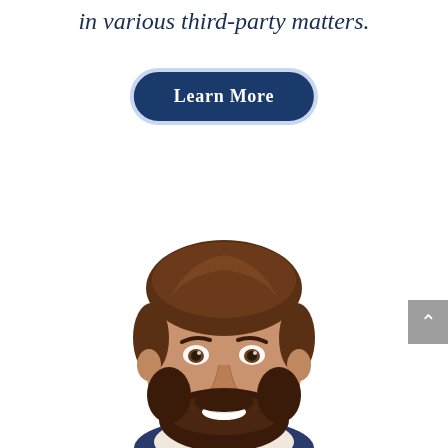in various third-party matters.
[Figure (other): Dark navy blue rounded button with white text reading 'Learn More', with a light blue/white border outline]
[Figure (photo): Professional headshot of a young man with dark hair and a beard, smiling, wearing a suit. Photo is cropped to show head and upper shoulders against a white background.]